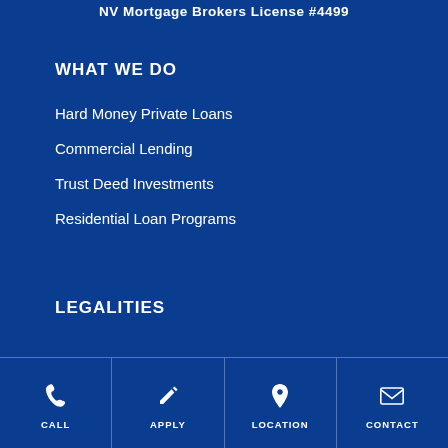NV Mortgage Brokers License #4499
WHAT WE DO
Hard Money Private Loans
Commercial Lending
Trust Deed Investments
Residential Loan Programs
LEGALITIES
CALL | APPLY | LOCATION | CONTACT